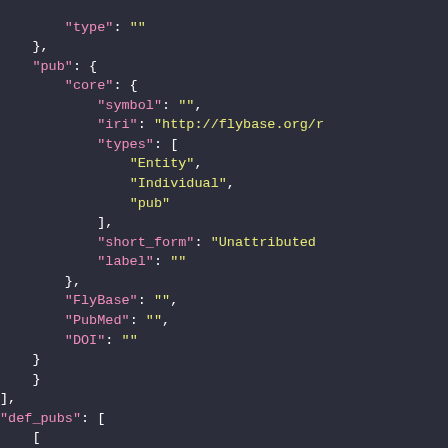JSON code block showing pub structure with type, core, symbol, iri, types, short_form, label, FlyBase, PubMed, DOI, def_pubs fields